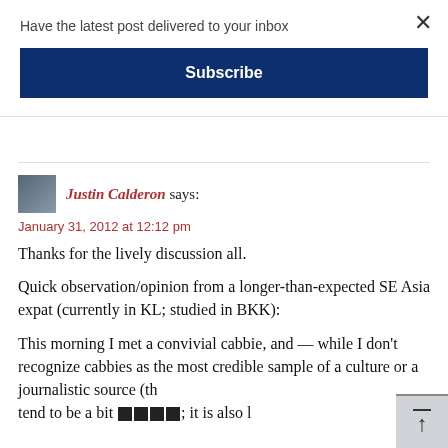Have the latest post delivered to your inbox
Subscribe
Justin Calderon says:
January 31, 2012 at 12:12 pm
Thanks for the lively discussion all.
Quick observation/opinion from a longer-than-expected SE Asia expat (currently in KL; studied in BKK):
This morning I met a convivial cabbie, and — while I don't recognize cabbies as the most credible sample of a culture or a journalistic source (t[hey] tend to be a bit [censored]; it is also [true]